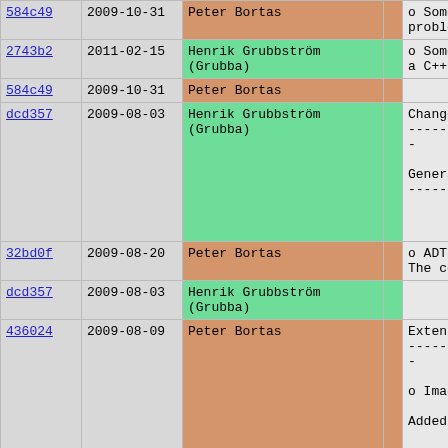| Hash | Date | Author |  | Message |
| --- | --- | --- | --- | --- |
| 584c49 | 2009-10-31 | Peter Bortas |  | o Some poten
problems w |
| 2743b2 | 2011-02-15 | Henrik Grubbström (Grubba) |  | o Some issue
a C++ comp |
| 584c49 | 2009-10-31 | Peter Bortas |  |  |
| dcd357 | 2009-08-03 | Henrik Grubbström (Grubba) |  | Changes sinc
------------

General
------- |
| 32bd0f | 2009-08-20 | Peter Bortas |  | o ADT.Heap
The compat |
| dcd357 | 2009-08-03 | Henrik Grubbström (Grubba) |  |  |
| 436024 | 2009-08-09 | Peter Bortas |  | Extensions a
------------

o Image.Imag

Added supp |
| 9962cb | 2009-08-26 | Henrik Grubbström (Grubba) |  | o Sql.Sql |